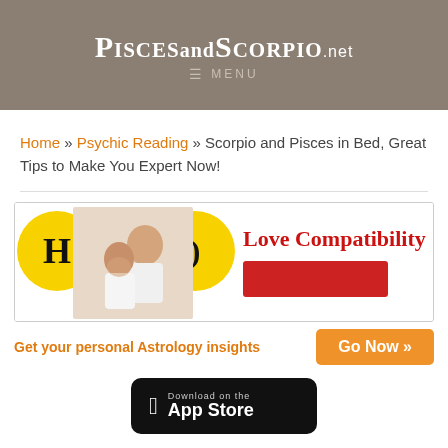PiscesandScorpio.net
≡ MENU
Home » Psychic Reading » Scorpio and Pisces in Bed, Great Tips to Make You Expert Now!
[Figure (infographic): Love Compatibility banner ad with two yellow circles containing zodiac symbols, a couple photo, red 'Love Compatibility' text, and a red button]
Get your personal Astrology insights   Go Now »
[Figure (logo): Download on the App Store badge]